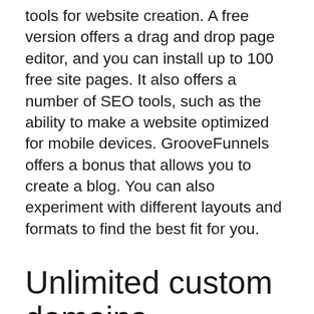tools for website creation. A free version offers a drag and drop page editor, and you can install up to 100 free site pages. It also offers a number of SEO tools, such as the ability to make a website optimized for mobile devices. GrooveFunnels offers a bonus that allows you to create a blog. You can also experiment with different layouts and formats to find the best fit for you.
Unlimited custom domains
The price of GrooveFunnels isn't cheap. You will need to purchase the entire product to get started. It has more features that other funnel building software. However, it also